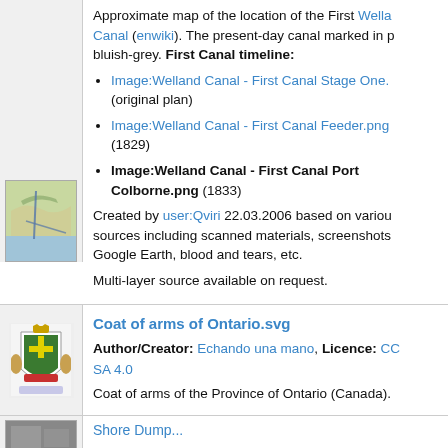[Figure (map): Small thumbnail map showing approximate location of the First Welland Canal]
Approximate map of the location of the First Welland Canal (enwiki). The present-day canal marked in p... bluish-grey. First Canal timeline:
Image:Welland Canal - First Canal Stage One. (original plan)
Image:Welland Canal - First Canal Feeder.png (1829)
Image:Welland Canal - First Canal Port Colborne.png (1833)
Created by user:Qviri 22.03.2006 based on various sources including scanned materials, screenshots Google Earth, blood and tears, etc.
Multi-layer source available on request.
[Figure (illustration): Coat of arms of Ontario illustration]
Coat of arms of Ontario.svg
Author/Creator: Echando una mano, Licence: CC SA 4.0
Coat of arms of the Province of Ontario (Canada).
[Figure (photo): Black and white photo thumbnail at bottom]
Shore Dump...